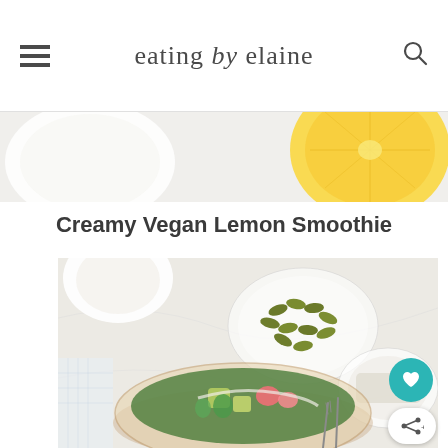eating by elaine
[Figure (photo): Partial top view of a white bowl and a halved lemon on a light background]
Creamy Vegan Lemon Smoothie
[Figure (photo): Overhead view of a salad bowl with avocado, radish, cucumber and greens; small glass bowl of pumpkin seeds; white cup; small bowl of hemp seeds; fork and knife on marble surface]